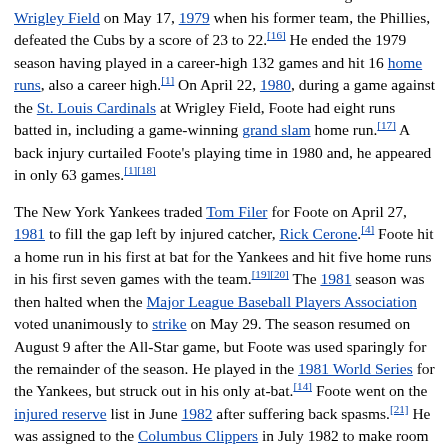in 1979.[14] The Cubs immediately made Foote their starting catcher.[15] He was the Cubs' catcher in a memorable game at Wrigley Field on May 17, 1979 when his former team, the Phillies, defeated the Cubs by a score of 23 to 22.[16] He ended the 1979 season having played in a career-high 132 games and hit 16 home runs, also a career high.[1] On April 22, 1980, during a game against the St. Louis Cardinals at Wrigley Field, Foote had eight runs batted in, including a game-winning grand slam home run.[17] A back injury curtailed Foote's playing time in 1980 and, he appeared in only 63 games.[1][18]
The New York Yankees traded Tom Filer for Foote on April 27, 1981 to fill the gap left by injured catcher, Rick Cerone.[4] Foote hit a home run in his first at bat for the Yankees and hit five home runs in his first seven games with the team.[19][20] The 1981 season was then halted when the Major League Baseball Players Association voted unanimously to strike on May 29. The season resumed on August 9 after the All-Star game, but Foote was used sparingly for the remainder of the season. He played in the 1981 World Series for the Yankees, but struck out in his only at-bat.[14] Foote went on the injured reserve list in June 1982 after suffering back spasms.[21] He was assigned to the Columbus Clippers in July 1982 to make room on the roster when Rick Cerone returned